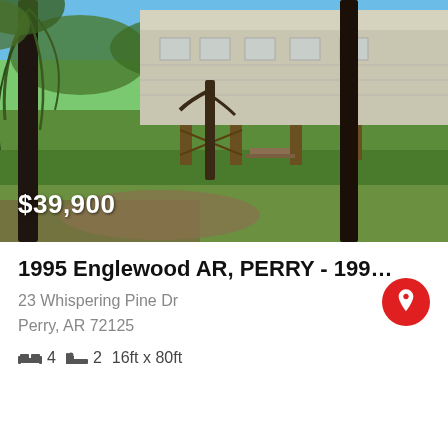[Figure (photo): Outdoor photo of a 1995 Englewood manufactured home (mobile home/trailer) on a green grassy lot with trees, blue sky, showing the side exterior of a beige/tan siding structure on supports. Price overlay shows $39,900.]
1995 Englewood AR, PERRY - 1995 ENGL...
23 Whispering Pine Dr
Perry, AR 72125
4 bed  2 bath  16ft x 80ft